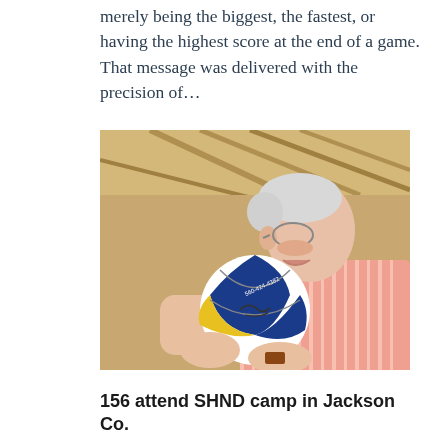merely being the biggest, the fastest, or having the highest score at the end of a game. That message was delivered with the precision of...
[Figure (photo): An elderly man with white hair and glasses wearing a salmon/pink striped polo shirt, holding a blue, yellow, and white basketball with a signature on it. He is indoors in what appears to be a gymnasium with a metal roof structure visible in the background.]
156 attend SHND camp in Jackson Co.